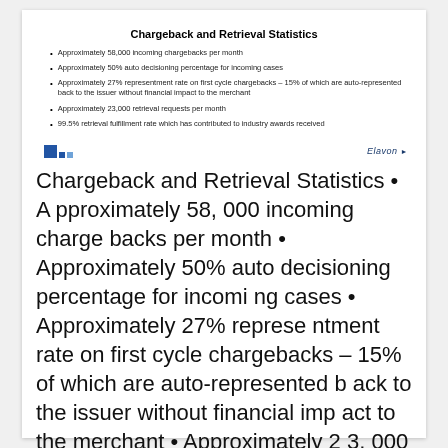Chargeback and Retrieval Statistics
Approximately 58,000 incoming chargebacks per month
Approximately 50% auto decisioning percentage for incoming cases
Approximately 27% representment rate on first cycle chargebacks – 15% of which are auto-represented back to the issuer without financial impact to the merchant
Approximately 23,000 retrieval requests per month
99.5% retrieval fulfillment rate which has contributed to industry awards received
[Figure (logo): Elavon company logo with blue grid squares on left and Elavon wordmark on right]
Chargeback and Retrieval Statistics • Approximately 58, 000 incoming chargebacks per month • Approximately 50% auto decisioning percentage for incoming cases • Approximately 27% representment rate on first cycle chargebacks – 15% of which are auto-represented back to the issuer without financial impact to the merchant • Approximately 23, 000 retrieval requests per month • 99. 5% retrieval fulfillment rate which has contributed to industry awards received 12